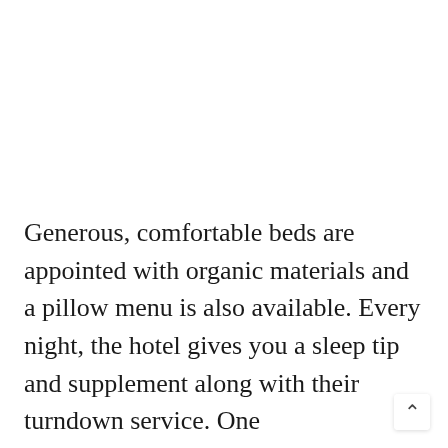Generous, comfortable beds are appointed with organic materials and a pillow menu is also available. Every night, the hotel gives you a sleep tip and supplement along with their turndown service. One